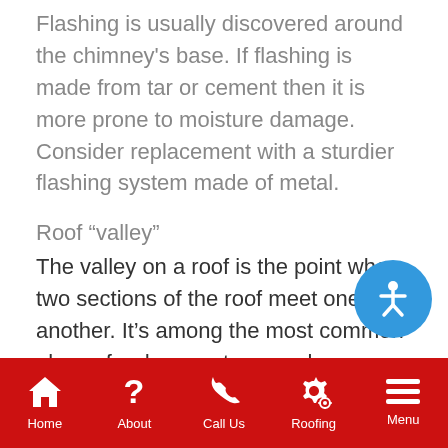Flashing is usually discovered around the chimney's base. If flashing is made from tar or cement then it is more prone to moisture damage. Consider replacement with a sturdier flashing system made of metal.
Roof “valley”
The valley on a roof is the point where two sections of the roof meet one another. It’s among the most common places for damage to occur because rain flows through the valleys into the gutters.
Your roof is older than 20 years
Home  About  Call Us  Roofing  Menu